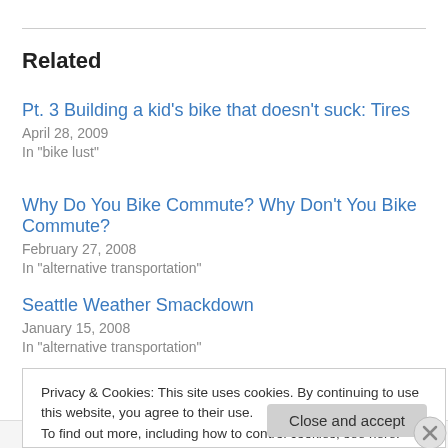Related
Pt. 3 Building a kid’s bike that doesn’t suck: Tires
April 28, 2009
In "bike lust"
Why Do You Bike Commute? Why Don’t You Bike Commute?
February 27, 2008
In "alternative transportation"
Seattle Weather Smackdown
January 15, 2008
In "alternative transportation"
Privacy & Cookies: This site uses cookies. By continuing to use this website, you agree to their use.
To find out more, including how to control cookies, see here: Cookie Policy
Close and accept
Follow